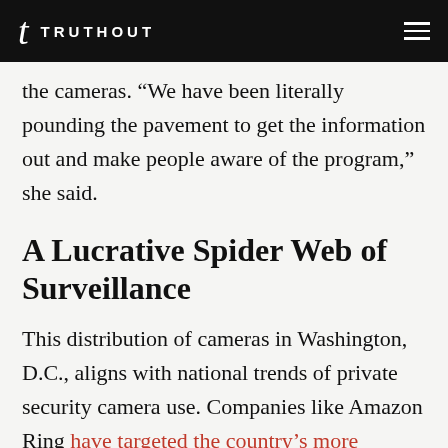TRUTHOUT
the cameras. “We have been literally pounding the pavement to get the information out and make people aware of the program,” she said.
A Lucrative Spider Web of Surveillance
This distribution of cameras in Washington, D.C., aligns with national trends of private security camera use. Companies like Amazon Ring have targeted the country’s more affluent, suburban neighborhoods as a consumer base